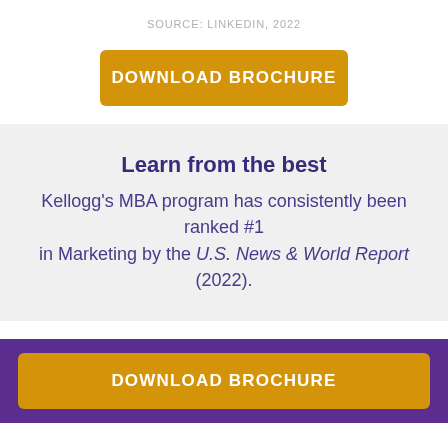SOURCE: LINKEDIN, 2022
DOWNLOAD BROCHURE
Learn from the best
Kellogg's MBA program has consistently been ranked #1 in Marketing by the U.S. News & World Report (2022).
DOWNLOAD BROCHURE